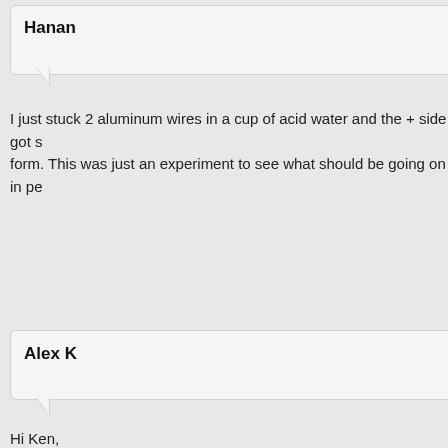Hanan
I just stuck 2 aluminum wires in a cup of acid water and the + side got s form. This was just an experiment to see what should be going on in pe
Alex K
Hi Ken,
great article. I am curios if you could potentially give me some pointers. a 1 ft long 1 inch aluminum rod that will be used with heating/cooling of anodized aluminium should be used (as in black cookware etc). Suppo grade.
I have never anodized anything. Do you think i would be able to use yo simply keep the aluminum rod in the solution until it turns dark grey/bla oxide? Would you suggest dyeing the aluminum with a food grade dye c accepted easily do the smaller pore size with hard coat anodized alumin Any thoughts would be appreciated. Thank you so much for your writeu Alex